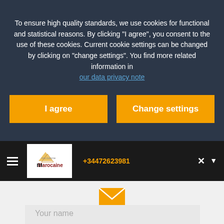To ensure high quality standards, we use cookies for functional and statistical reasons. By clicking "I agree", you consent to the use of these cookies. Current cookie settings can be changed by clicking on "change settings". You find more related information in our data privacy note
[Figure (screenshot): Two orange buttons: 'I agree' and 'Change settings']
[Figure (logo): Ma Cuisine Marocaine logo on white background in navigation bar]
+34472623981
[Figure (illustration): Orange envelope/mail icon]
Send us your message
Your name